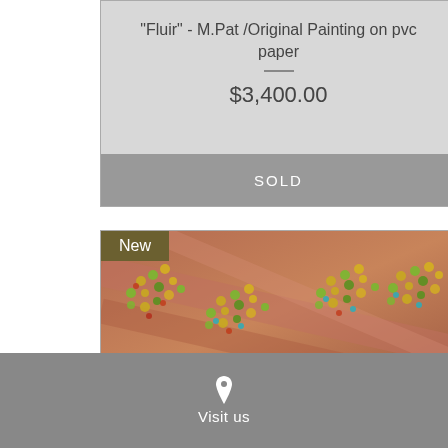“Fluir” - M.Pat /Original Painting on pvc paper
$3,400.00
SOLD
[Figure (photo): Close-up photograph of a colorful original painting showing textured dots and patterns in gold, green, teal, and red tones on a brownish-red background, titled Cardumen by M.Pat]
“Cardumen” - M.Pat /Original Painting
Visit us